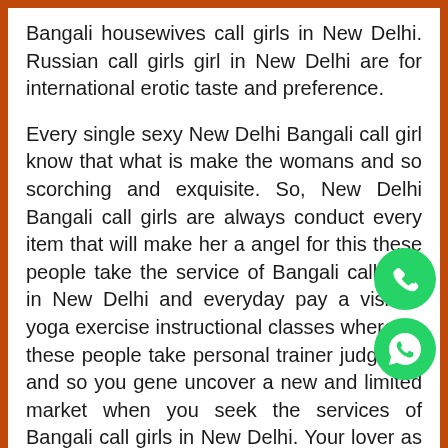Bangali housewives call girls in New Delhi. Russian call girls girl in New Delhi are for international erotic taste and preference.
Every single sexy New Delhi Bangali call girl know that what is make the womans and so scorching and exquisite. So, New Delhi Bangali call girls are always conduct every item that will make her a angel for this these people take the service of Bangali call girls in New Delhi and everyday pay a visit to yoga exercise instructional classes where by these people take personal trainer judgment and so you generally uncover a new and limited market when you seek the services of Bangali call girls in New Delhi. Your lover as well take service of beauty